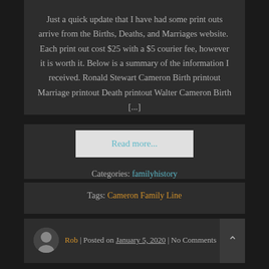Just a quick update that I have had some print outs arrive from the Births, Deaths, and Marriages website.  Each print out cost $25 with a $5 courier fee, however it is worth it. Below is a summary of the information I received. Ronald Stewart Cameron Birth printout Marriage printout Death printout Walter Cameron Birth [...]
Read more...
Categories: familyhistory
Tags: Cameron Family Line
Rob | Posted on January 5, 2020 | No Comments